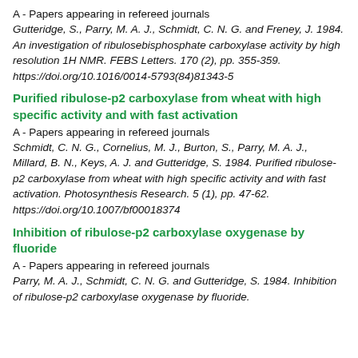A - Papers appearing in refereed journals
Gutteridge, S., Parry, M. A. J., Schmidt, C. N. G. and Freney, J. 1984. An investigation of ribulosebisphosphate carboxylase activity by high resolution 1H NMR. FEBS Letters. 170 (2), pp. 355-359. https://doi.org/10.1016/0014-5793(84)81343-5
Purified ribulose-p2 carboxylase from wheat with high specific activity and with fast activation
A - Papers appearing in refereed journals
Schmidt, C. N. G., Cornelius, M. J., Burton, S., Parry, M. A. J., Millard, B. N., Keys, A. J. and Gutteridge, S. 1984. Purified ribulose-p2 carboxylase from wheat with high specific activity and with fast activation. Photosynthesis Research. 5 (1), pp. 47-62. https://doi.org/10.1007/bf00018374
Inhibition of ribulose-p2 carboxylase oxygenase by fluoride
A - Papers appearing in refereed journals
Parry, M. A. J., Schmidt, C. N. G. and Gutteridge, S. 1984. Inhibition of ribulose-p2 carboxylase oxygenase by fluoride.